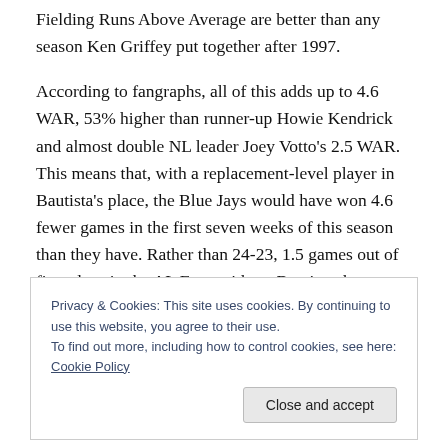Fielding Runs Above Average are better than any season Ken Griffey put together after 1997.
According to fangraphs, all of this adds up to 4.6 WAR, 53% higher than runner-up Howie Kendrick and almost double NL leader Joey Votto's 2.5 WAR. This means that, with a replacement-level player in Bautista's place, the Blue Jays would have won 4.6 fewer games in the first seven weeks of this season than they have. Rather than 24-23, 1.5 games out of first place in the AL East, without Bautista they would be alone in the basement with a
Privacy & Cookies: This site uses cookies. By continuing to use this website, you agree to their use.
To find out more, including how to control cookies, see here: Cookie Policy